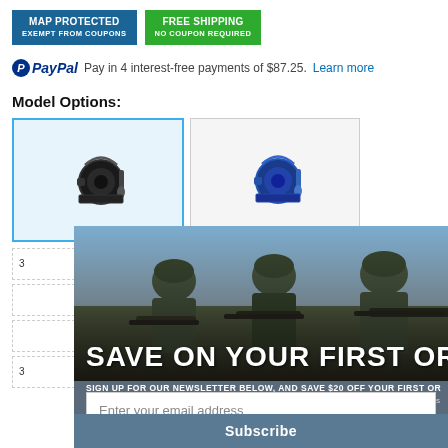[Figure (infographic): Two badge buttons: 'MAP PROTECTED EXEMPT FROM COUPONS' in blue and 'FREE SHIPPING NO COUPON REQUIRED' in green]
Pay in 4 interest-free payments of $87.25. Learn more
Model Options:
[Figure (photo): Two fishing reel product thumbnails side by side; left one selected with blue border showing black reel, right one showing blue reel]
[Figure (photo): Overlay popup showing soldiers in tactical gear with text 'SAVE ON YOUR FIRST ORDER', 'SIGN UP FOR OUR NEWSLETTER BELOW, AND SAVE $20 OFF YOUR FIRST OR...', email input field, and Subscribe button]